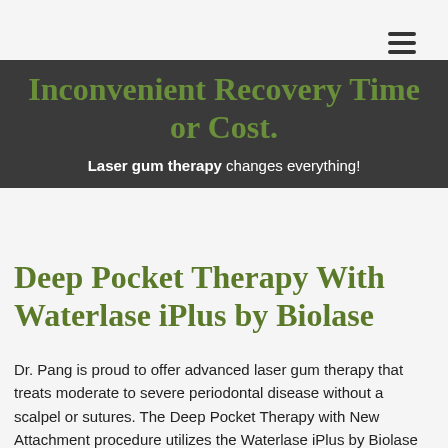≡
Inconvenient Recovery Time or Cost.
Laser gum therapy changes everything!
Deep Pocket Therapy With Waterlase iPlus by Biolase
Dr. Pang is proud to offer advanced laser gum therapy that treats moderate to severe periodontal disease without a scalpel or sutures. The Deep Pocket Therapy with New Attachment procedure utilizes the Waterlase iPlus by Biolase to perform incision-free gum disease treatment that results in little to no discomfort or post-operative pain. The procedure is